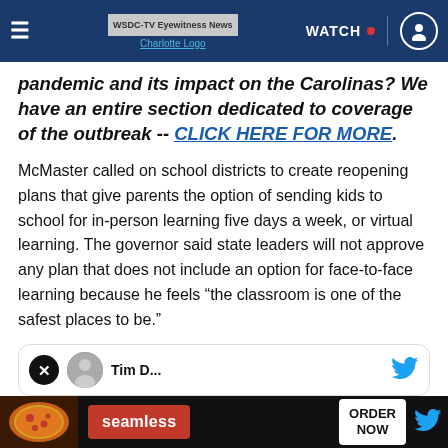WSDC-TV Eyewitness News Charlotte Logo | WATCH
pandemic and its impact on the Carolinas? We have an entire section dedicated to coverage of the outbreak -- CLICK HERE FOR MORE.
McMaster called on school districts to create reopening plans that give parents the option of sending kids to school for in-person learning five days a week, or virtual learning. The governor said state leaders will not approve any plan that does not include an option for face-to-face learning because he feels “the classroom is one of the safest places to be.”
[Figure (screenshot): Partial tweet card with close button and Twitter bird icon]
[Figure (screenshot): Seamless food delivery advertisement banner with pizza image, Seamless logo, and ORDER NOW button]